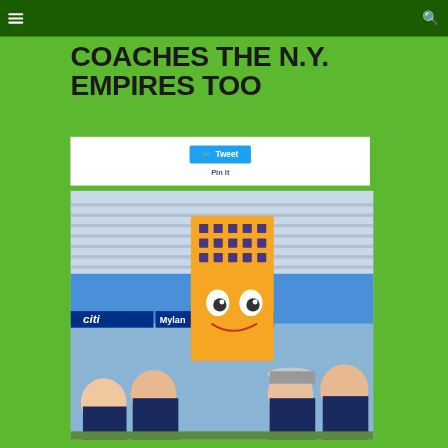Navigation header with hamburger menu and search icon
COACHES THE N.Y. EMPIRES TOO
Tweet  Pin It
[Figure (photo): Group photo of people posing with a large orange building mascot (Empire State Building character) at what appears to be a tennis venue. Citi and Mylan sponsor banners visible in background.]